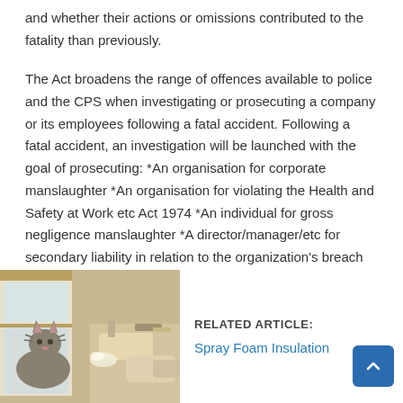and whether their actions or omissions contributed to the fatality than previously.
The Act broadens the range of offences available to police and the CPS when investigating or prosecuting a company or its employees following a fatal accident. Following a fatal accident, an investigation will be launched with the goal of prosecuting: *An organisation for corporate manslaughter *An organisation for violating the Health and Safety at Work etc Act 1974 *An individual for gross negligence manslaughter *A director/manager/etc for secondary liability in relation to the organization's breach of the HSWA
[Figure (photo): Photo of a cat sitting near a window with a person handling spray foam insulation equipment]
RELATED ARTICLE:
Spray Foam Insulation